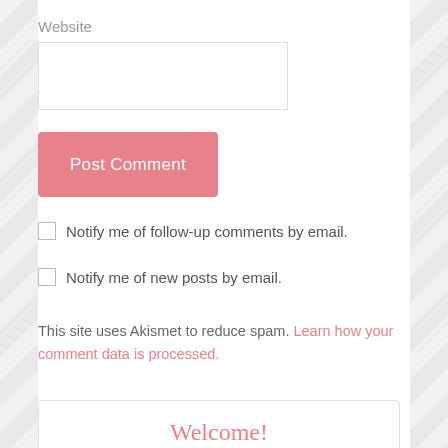Website
Post Comment
Notify me of follow-up comments by email.
Notify me of new posts by email.
This site uses Akismet to reduce spam. Learn how your comment data is processed.
Welcome!
Welcome to the BFF Book Blog!
[Figure (illustration): Pink rose illustration inside a pink circle border]